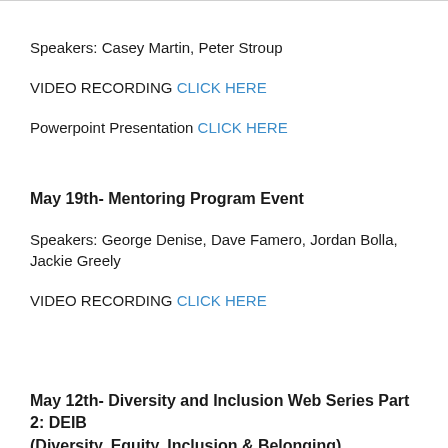Speakers: Casey Martin, Peter Stroup
VIDEO RECORDING CLICK HERE
Powerpoint Presentation CLICK HERE
May 19th- Mentoring Program Event
Speakers: George Denise, Dave Famero, Jordan Bolla, Jackie Greely
VIDEO RECORDING CLICK HERE
May 12th- Diversity and Inclusion Web Series Part 2: DEIB (Diversity, Equity, Inclusion & Belonging)